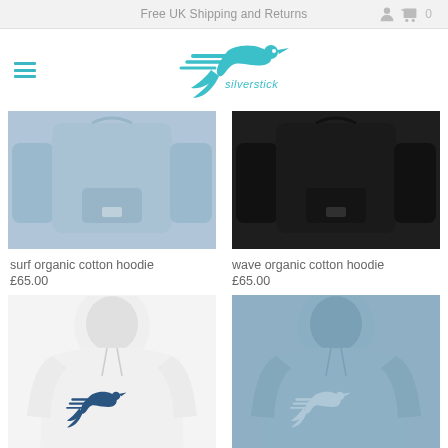Free UK Shipping and Returns
[Figure (logo): Silverstick brand logo — teal flying bird/swallow with speed lines and brand name text]
[Figure (photo): Surf organic cotton hoodie in blue — front and back views laid flat]
surf organic cotton hoodie
£65.00
[Figure (photo): Wave organic cotton hoodie in black — front and back views laid flat]
wave organic cotton hoodie
£65.00
[Figure (photo): White hoodie with large teal Silverstick bird logo on chest — front view on model/mannequin]
[Figure (photo): Blue-grey hoodie with Silverstick bird logo on chest — front view on model/mannequin]